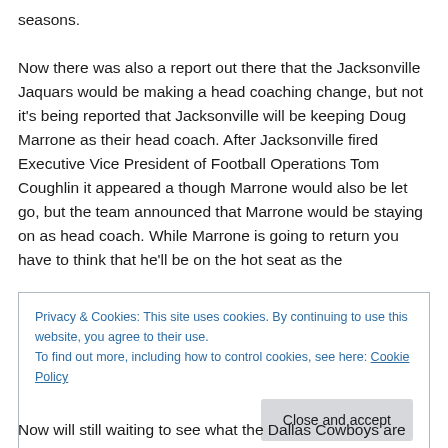seasons.
Now there was also a report out there that the Jacksonville Jaquars would be making a head coaching change, but not it's being reported that Jacksonville will be keeping Doug Marrone as their head coach. After Jacksonville fired Executive Vice President of Football Operations Tom Coughlin it appeared a though Marrone would also be let go, but the team announced that Marrone would be staying on as head coach. While Marrone is going to return you have to think that he'll be on the hot seat as the
Privacy & Cookies: This site uses cookies. By continuing to use this website, you agree to their use.
To find out more, including how to control cookies, see here: Cookie Policy
[Close and accept]
Now will still waiting to see what the Dallas Cowboys are